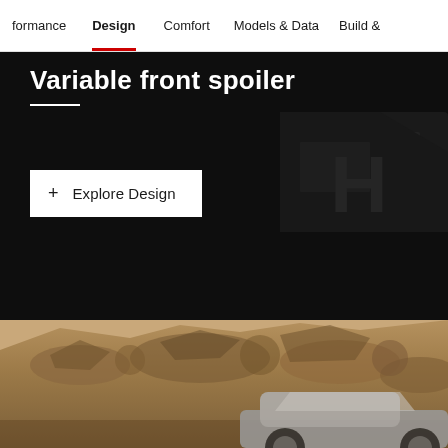formance  Design  Comfort  Models & Data  Build &
Variable front spoiler
+ Explore Design
[Figure (photo): Rocky desert terrain with a grey car partially visible at the bottom right, viewed from a car website design page.]